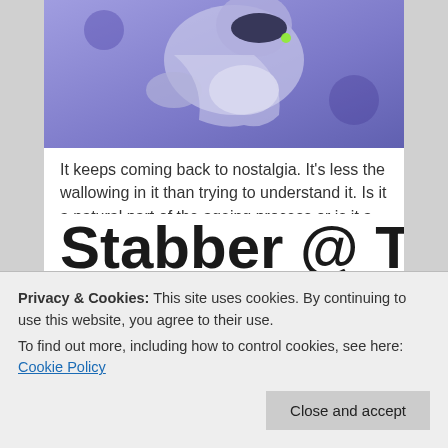[Figure (photo): A person in a blue/purple-lit setting, appears to be a performer or musician holding something, wearing a light blue jacket. Purple/blue tones dominate the image.]
It keeps coming back to nostalgia. It's less the wallowing in it than trying to understand it. Is it a natural part of the ageing process or is it a commercial construct? It's a slow creep, something that's getting worse, and yet something that I don't feel wholly responsible for or in control of. It's […]
Added on October 8, 2019   ed
Stabber @ The
Privacy & Cookies: This site uses cookies. By continuing to use this website, you agree to their use.
To find out more, including how to control cookies, see here: Cookie Policy
Close and accept